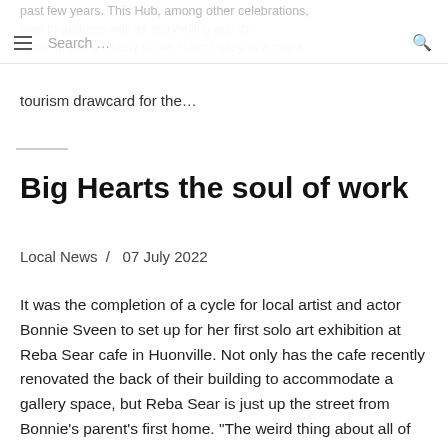past few years. This Hub, among other celebrations, plan to address well as storytelling and the apple-growing history of the Huon Valley, is a major tourism drawcard for the...
tourism drawcard for the...
Big Hearts the soul of work
Local News  /  07 July 2022
It was the completion of a cycle for local artist and actor Bonnie Sveen to set up for her first solo art exhibition at Reba Sear cafe in Huonville. Not only has the cafe recently renovated the back of their building to accommodate a gallery space, but Reba Sear is just up the street from Bonnie’s parent’s first home. “The weird thing about all of this is that I went to Huonville Primary and